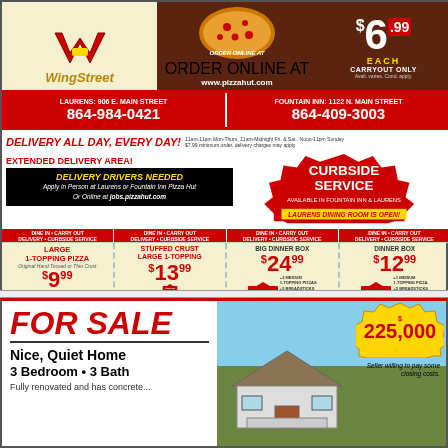[Figure (advertisement): Pizza Hut / WingStreet advertisement with logo, pizza image, $6.99 price, order online text]
LAURENS: 906 E. MAIN STREET 864-984-0421 | FOUNTAIN INN: 1122 N. MAIN STREET 864-409-3003
DELIVERY ALL DAY, EVERY DAY! 11am-11pm Mon-Thurs, 11am-Midnight Fri. & Sat., Noon-11pm Sunday $7.99 minimum order, delivery charges may apply
EXTENDED DELIVERY AREA!
DELIVERY DRIVERS NEEDED - Apply in Person at Laurens or Fountain Inn Pizza Hut Or Online at jobs.pizzahut.com
CURBSIDE SERVICE - AVAILABLE IN FOUNTAIN INN & LAURENS - LAURENS DINING ROOM IS OPEN!
LARGE 1-TOPPING PIZZA $9.99
STUFFED CRUST LARGE 1-TOPPING $13.99
BIG DINNER BOX $24.99 +2 MEDIUM 1-TOPPING PIZZAS +5 BREADSTICKS +8 BREADED BONE-OUT WINGS
DINNER BOX $12.99 +1 MEDIUM 1-TOPPING PIZZA +5 BREADSTICKS +10 CINNAMON STICKS
[Figure (advertisement): FOR SALE real estate ad - Nice, Quiet Home 3 Bedroom 3 Bath, $225,000, Seller willing to pay some closing costs]
FOR SALE - Nice, Quiet Home 3 Bedroom • 3 Bath - Fully renovated and has concrete... $225,000 - Seller willing to pay some closing costs.